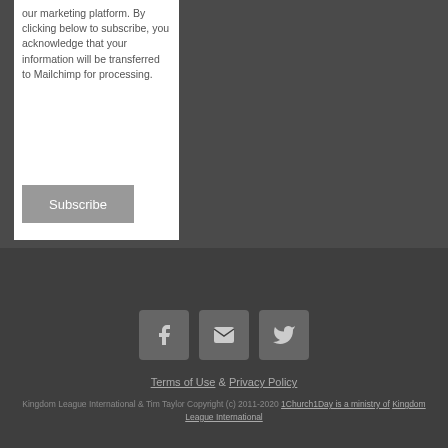our marketing platform. By clicking below to subscribe, you acknowledge that your information will be transferred to Mailchimp for processing.
Subscribe
[Figure (illustration): Three social media icon buttons: Facebook (f), Email (envelope), Twitter (bird)]
Terms of Use & Privacy Policy
Kingdom League International & Tim Taylor Copyright (c) 2011-2020 1Church1Day is a ministry of Kingdom League International